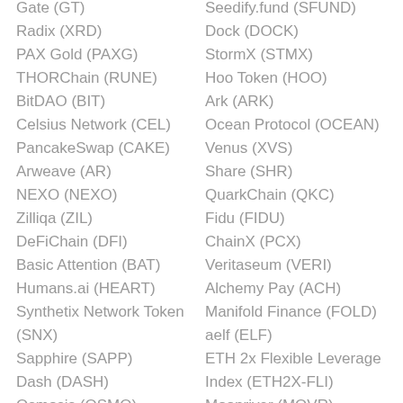Gate (GT)
Radix (XRD)
PAX Gold (PAXG)
THORChain (RUNE)
BitDAO (BIT)
Celsius Network (CEL)
PancakeSwap (CAKE)
Arweave (AR)
NEXO (NEXO)
Zilliqa (ZIL)
DeFiChain (DFI)
Basic Attention (BAT)
Humans.ai (HEART)
Synthetix Network Token (SNX)
Sapphire (SAPP)
Dash (DASH)
Osmosis (OSMO)
Stacks (STX)
Seedify.fund (SFUND)
Dock (DOCK)
StormX (STMX)
Hoo Token (HOO)
Ark (ARK)
Ocean Protocol (OCEAN)
Venus (XVS)
Share (SHR)
QuarkChain (QKC)
Fidu (FIDU)
ChainX (PCX)
Veritaseum (VERI)
Alchemy Pay (ACH)
Manifold Finance (FOLD)
aelf (ELF)
ETH 2x Flexible Leverage Index (ETH2X-FLI)
Moonriver (MOVR)
NKN (NKN)